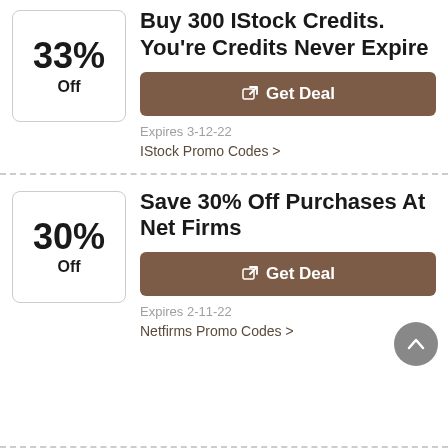Buy 300 IStock Credits. You're Credits Never Expire
Get Deal
Expires 3-12-22
IStock Promo Codes >
Save 30% Off Purchases At Net Firms
Get Deal
Expires 2-11-22
Netfirms Promo Codes >